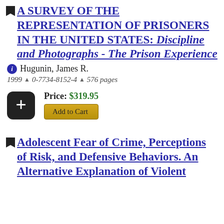A SURVEY OF THE REPRESENTATION OF PRISONERS IN THE UNITED STATES: Discipline and Photographs - The Prison Experience
Hugunin, James R.
1999 ∧ 0-7734-8152-4 ∧ 576 pages
Price: $319.95
Add to Cart
Adolescent Fear of Crime, Perceptions of Risk, and Defensive Behaviors. An Alternative Explanation of Violent